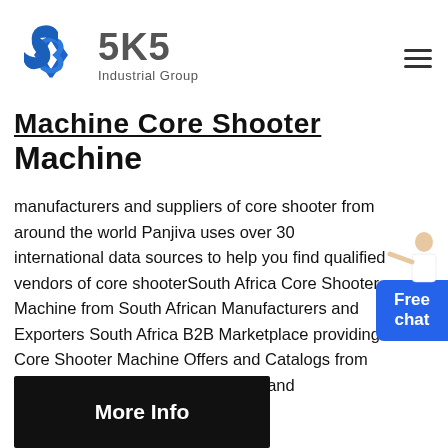[Figure (logo): SKS Industrial Group logo with blue angular S icon and grey SKS text with 'Industrial Group' subtitle]
Machine Core Shooter Machine
manufacturers and suppliers of core shooter from around the world Panjiva uses over 30 international data sources to help you find qualified vendors of core shooterSouth Africa Core Shooter Machine from South African Manufacturers and Exporters South Africa B2B Marketplace providing Core Shooter Machine Offers and Catalogs from pre verified South Africa Suppliers and Manufacturers
[Figure (illustration): Free chat widget button in blue with person/agent illustration]
More Info